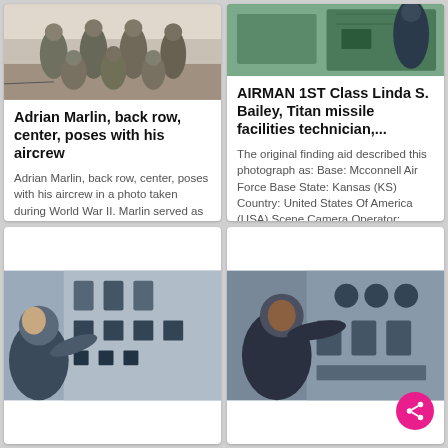[Figure (photo): Black and white photo of Adrian Marlin, back row center, posing with his aircrew]
Adrian Marlin, back row, center, poses with his aircrew
Adrian Marlin, back row, center, poses with his aircrew in a photo taken during World War II. Marlin served as a tail gunner on a B-17 Flying Fortress during the war. He and his aircrew survived a crash landing... More
[Figure (photo): Color photo of person at a control panel / equipment]
AIRMAN 1ST Class Linda S. Bailey, Titan missile facilities technician,...
The original finding aid described this photograph as: Base: Mcconnell Air Force Base State: Kansas (KS) Country: United States Of America (USA) Scene Camera Operator: Unknown Release Status: Released to P... More
[Figure (photo): Color photo of person working at control panel with switches]
[Figure (photo): Color photo of person at equipment panel with share FAB button overlay]